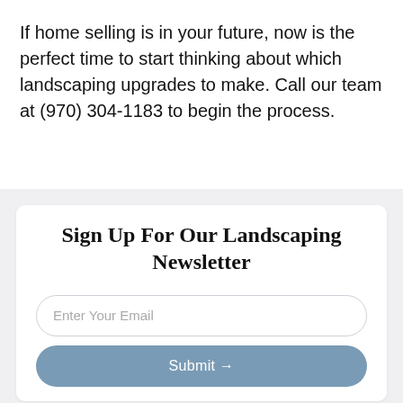If home selling is in your future, now is the perfect time to start thinking about which landscaping upgrades to make. Call our team at (970) 304-1183 to begin the process.
Sign Up For Our Landscaping Newsletter
Enter Your Email
Submit →